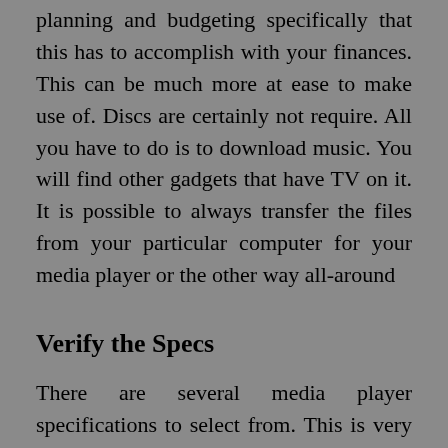planning and budgeting specifically that this has to accomplish with your finances. This can be much more at ease to make use of. Discs are certainly not require. All you have to do is to download music. You will find other gadgets that have TV on it. It is possible to always transfer the files from your particular computer for your media player or the other way all-around
Verify the Specs
There are several media player specifications to select from. This is very crucial for obtaining wholesale mp3 players. Most people who buy wholesale contain the intent of employing it as part of their start out up organization. The mp3